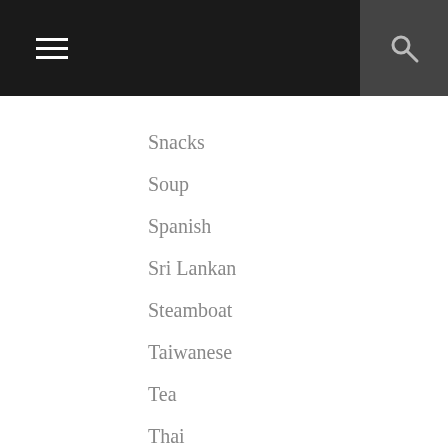Navigation menu header with hamburger icon and search icon
Snacks
Soup
Spanish
Sri Lankan
Steamboat
Taiwanese
Tea
Thai
Travels
Travels and Food